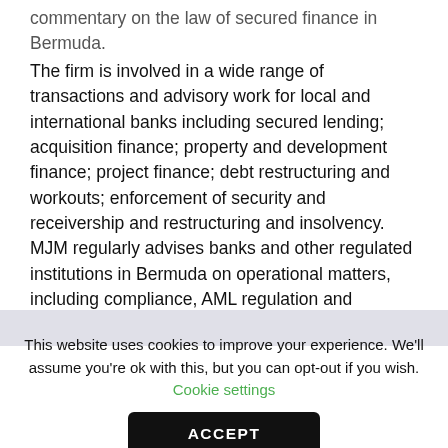commentary on the law of secured finance in Bermuda. The firm is involved in a wide range of transactions and advisory work for local and international banks including secured lending; acquisition finance; property and development finance; project finance; debt restructuring and workouts; enforcement of security and receivership and restructuring and insolvency. MJM regularly advises banks and other regulated institutions in Bermuda on operational matters, including compliance, AML regulation and discovery orders. In addition, the firm regularly advises on significant projects on island including infrastructure projects, such as the redevelopment of
This website uses cookies to improve your experience. We'll assume you're ok with this, but you can opt-out if you wish. Cookie settings
ACCEPT